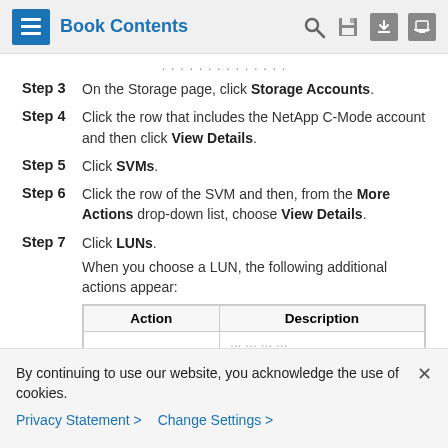Book Contents
Step 3  On the Storage page, click Storage Accounts.
Step 4  Click the row that includes the NetApp C-Mode account and then click View Details.
Step 5  Click SVMs.
Step 6  Click the row of the SVM and then, from the More Actions drop-down list, choose View Details.
Step 7  Click LUNs. When you choose a LUN, the following additional actions appear:
| Action | Description |
| --- | --- |
|  |  |
By continuing to use our website, you acknowledge the use of cookies.
Privacy Statement >  Change Settings >